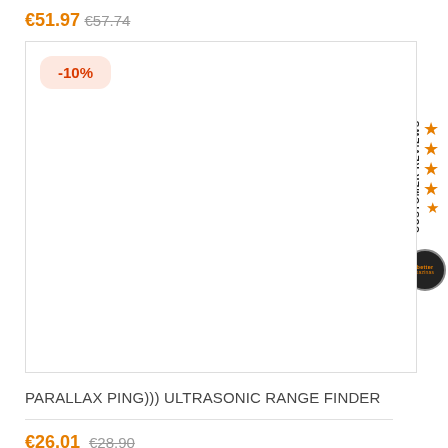€51.97  €57.74
[Figure (other): Product image placeholder box with -10% discount badge]
PARALLAX PING))) ULTRASONIC RANGE FINDER
€26.01  €28.90